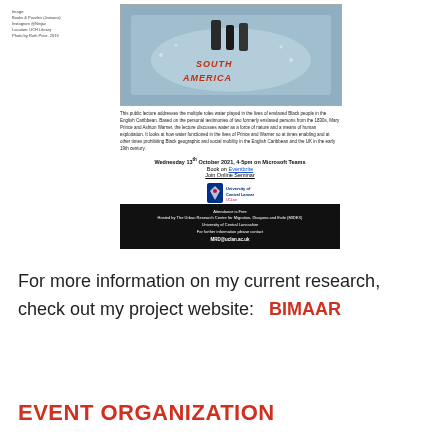[Figure (photo): Flyer for a public lecture on water and enslaved Black people in the English Caribbean. Contains a photo of a 'South America' map puzzle, descriptive text, event details (Wednesday 13th October 2021, 4-5pm on Microsoft Teams, Book on Eventbrite, Join Online Seminar), UCLan logo, and a dark footer with hosting information and contact email MRD@uclan.ac.uk]
For more information on my current research, check out my project website:  BIMAAR
EVENT ORGANIZATION